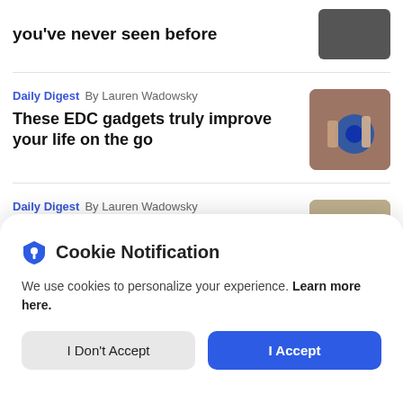you've never seen before
Daily Digest  By Lauren Wadowsky — These EDC gadgets truly improve your life on the go
Daily Digest  By Lauren Wadowsky — Improve your sleep routine with these
Cookie Notification
We use cookies to personalize your experience. Learn more here.
I Don't Accept
I Accept